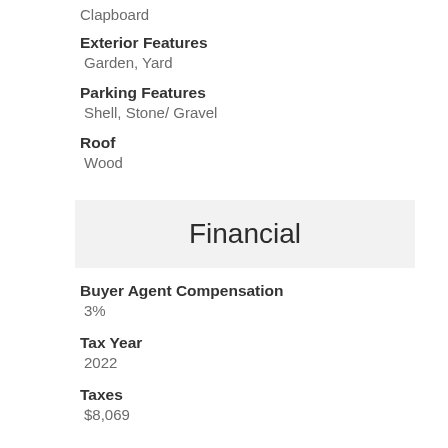Clapboard
Exterior Features
Garden, Yard
Parking Features
Shell, Stone/ Gravel
Roof
Wood
Financial
Buyer Agent Compensation
3%
Tax Year
2022
Taxes
$8,069